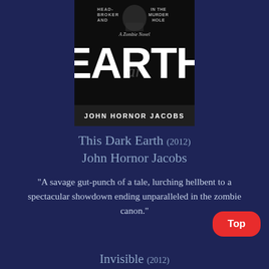[Figure (illustration): Book cover of 'This Dark Earth' by John Hornor Jacobs. Dark cover with large white text 'EARTH' and smaller text above reading 'HEAD-BROKER AND IN THE MURDER HOLE' and 'A ZOMBIE NOVEL'. Author name 'JOHN HORNOR JACOBS' at the bottom of the cover.]
This Dark Earth (2012)
John Hornor Jacobs
"A savage gut-punch of a tale, lurching hellbent to a spectacular showdown ending unparalleled in the zombie canon."
Invisible (2012)